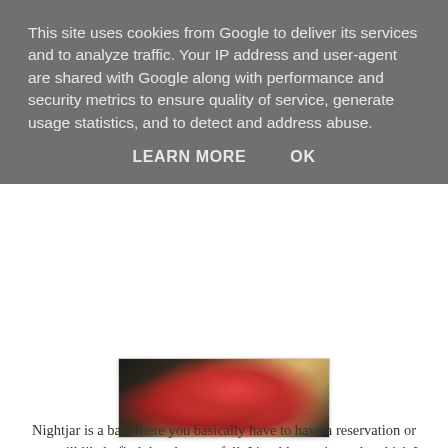This site uses cookies from Google to deliver its services and to analyze traffic. Your IP address and user-agent are shared with Google along with performance and security metrics to ensure quality of service, generate usage statistics, and to detect and address abuse.
LEARN MORE    OK
[Figure (photo): Partial photo of a tattoo featuring a red/pink flower (rose) on skin, with dark background, partially visible]
Nightjar is a bar where you basically have to have a reservation or you will likely find that they are full. It's table service only which I like very much as there's no loitering about at the bar, and the atmosphere is cosy and dark and very prohibition-era. The drinks are wonderful: complicated, strong and imaginative and with more than a splash of good liquor. It's a place to go for special drinks, not a quick one after work, and it was exciting to settle into our little table and start choosing from the lengthy menu.